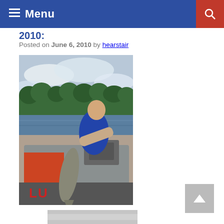Menu
2010:
Posted on June 6, 2010 by hearstair
[Figure (photo): A man in a blue vest leaning over the side of a boat, reaching toward a large fish (pike) jumping out of the water. Background shows a lake and treeline under cloudy sky.]
[Figure (photo): Partial view of a second photo at the bottom of the page, showing a light gray/silver surface.]